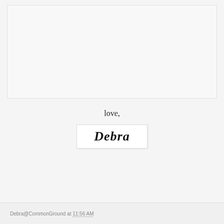[Figure (other): Large blank/white image area at top of page]
love,
[Figure (illustration): Signature box with cursive script reading 'Debra' in ornate italic font on white background with light border]
Debra@CommonGround at 11:56 AM